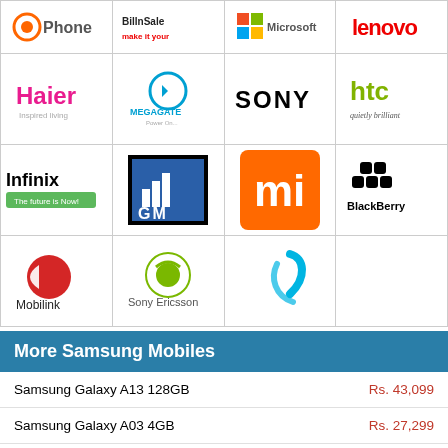[Figure (logo): Grid of brand logos: OPhone, BillnSale, Microsoft, Lenovo (top row, partially visible)]
[Figure (logo): Grid of brand logos: Haier, MegaGate, Sony, HTC]
[Figure (logo): Grid of brand logos: Infinix, GM, Mi, BlackBerry]
[Figure (logo): Grid of brand logos: Mobilink, Sony Ericsson, Telenor (3 cells, one empty)]
More Samsung Mobiles
| Product | Price |
| --- | --- |
| Samsung Galaxy A13 128GB | Rs. 43,099 |
| Samsung Galaxy A03 4GB | Rs. 27,299 |
| Samsung Galaxy S21 FE 256GB | Rs. 172,999 |